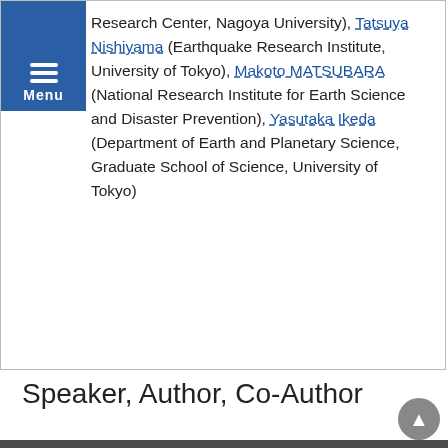Menu
Research Center, Nagoya University), Tatsuya Nishiyama (Earthquake Research Institute, University of Tokyo), Makoto MATSUBARA (National Research Institute for Earth Science and Disaster Prevention), Yasutaka Ikeda (Department of Earth and Planetary Science, Graduate School of Science, University of Tokyo)
Speaker, Author, Co-Author
Thu. May 28, 2015 9:15 AM - 10:45 AM
A04 (APA HOTEL&RESORT TOKYO BAY MAKUHARI)
Oral | Symbol S (Solid Earth Sciences) | S-SS Seismology
[S-SS28] Active faults and paleoseismology
9:45 AM - 10:00 AM
[SSS28-08] Geologic structure across the central part of the western marginal faults of the Kitakami Lowland
Shin HASHIMA 1, Makoto IKEDA 1, Hiroshi SATO 2